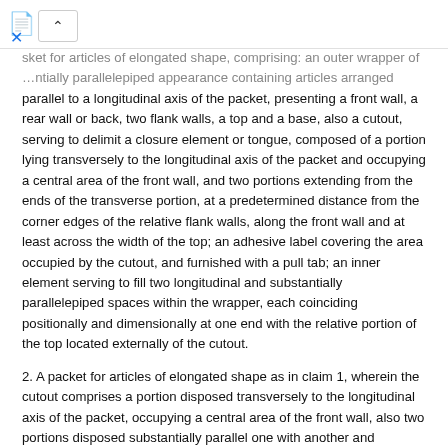sket for articles of elongated shape, comprising: an outer wrapper of …ntially parallelepiped appearance containing articles arranged parallel to a longitudinal axis of the packet, presenting a front wall, a rear wall or back, two flank walls, a top and a base, also a cutout, serving to delimit a closure element or tongue, composed of a portion lying transversely to the longitudinal axis of the packet and occupying a central area of the front wall, and two portions extending from the ends of the transverse portion, at a predetermined distance from the corner edges of the relative flank walls, along the front wall and at least across the width of the top; an adhesive label covering the area occupied by the cutout, and furnished with a pull tab; an inner element serving to fill two longitudinal and substantially parallelepiped spaces within the wrapper, each coinciding positionally and dimensionally at one end with the relative portion of the top located externally of the cutout.
2. A packet for articles of elongated shape as in claim 1, wherein the cutout comprises a portion disposed transversely to the longitudinal axis of the packet, occupying a central area of the front wall, also two portions disposed substantially parallel one with another and extending from the ends of the transverse portion at a predetermined distance from the corner edges of the relative flank walls, along the front wall and at least across the top, of which the respective free ends are located on the back of the